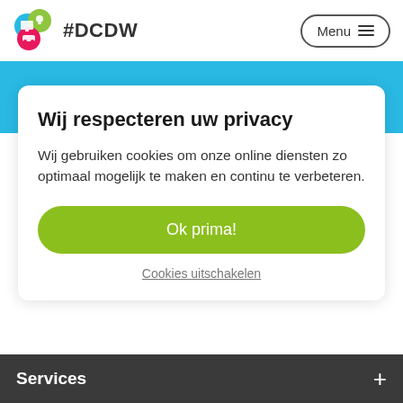[Figure (logo): DCDW logo with overlapping colored circles (blue monitor, green lightbulb, pink car) and #DCDW text]
[Figure (screenshot): Menu button with hamburger icon in a rounded rectangle border]
[Figure (screenshot): Blue banner with three white circular buttons partially visible at bottom]
Wij respecteren uw privacy
Wij gebruiken cookies om onze online diensten zo optimaal mogelijk te maken en continu te verbeteren.
Ok prima!
Cookies uitschakelen
Services